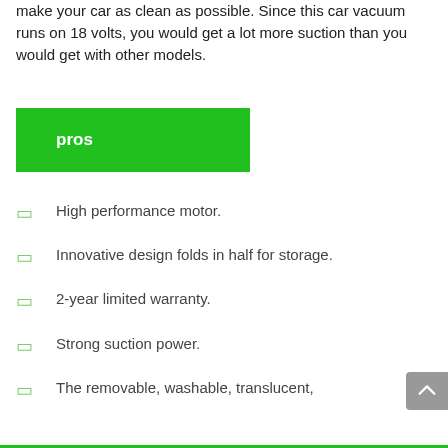make your car as clean as possible. Since this car vacuum runs on 18 volts, you would get a lot more suction than you would get with other models.
pros
High performance motor.
Innovative design folds in half for storage.
2-year limited warranty.
Strong suction power.
The removable, washable, translucent,